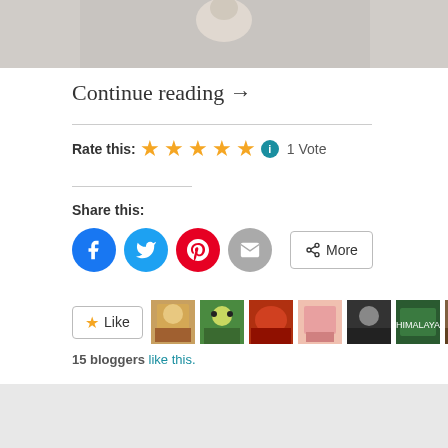[Figure (photo): Top image strip, partial photo visible at top]
Continue reading →
Rate this: ★★★★★ ℹ 1 Vote
Share this:
[Figure (screenshot): Social sharing buttons: Facebook, Twitter, Pinterest, Email, More]
[Figure (screenshot): Like button and 9 blogger avatars]
15 bloggers like this.
[Figure (screenshot): Gray background section at bottom]